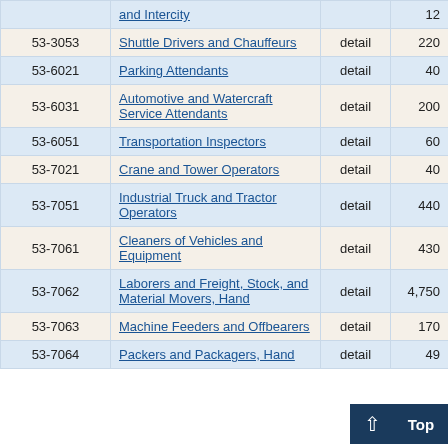| Code | Occupation | Level | Employment | ... |
| --- | --- | --- | --- | --- |
|  | and Intercity |  |  |  |
| 53-3053 | Shuttle Drivers and Chauffeurs | detail | 220 | 12... |
| 53-6021 | Parking Attendants | detail | 40 | 38... |
| 53-6031 | Automotive and Watercraft Service Attendants | detail | 200 | 8... |
| 53-6051 | Transportation Inspectors | detail | 60 | 16... |
| 53-7021 | Crane and Tower Operators | detail | 40 | 13... |
| 53-7051 | Industrial Truck and Tractor Operators | detail | 440 | 8... |
| 53-7061 | Cleaners of Vehicles and Equipment | detail | 430 | 4... |
| 53-7062 | Laborers and Freight, Stock, and Material Movers, Hand | detail | 4,750 | 2... |
| 53-7063 | Machine Feeders and Offbearers | detail | 170 | 4... |
| 53-7064 | Packers and Packagers, Hand | detail | 49... |  |